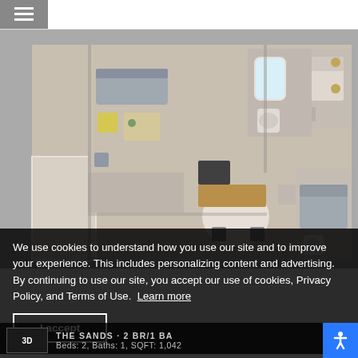≡ (navigation menu)
[Figure (illustration): 3D top-down floor plan rendering of a 2BR/1BA apartment called The Sands. Shows living room with sofa, coffee table, dining area with round table and chairs, kitchen with appliances, two bedrooms with beds and furniture, bathroom with tub and toilet. Gray walls, warm brown floors, white trim.]
We use cookies to understand how you use our site and to improve your experience. This includes personalizing content and advertising.
By continuing to use our site, you accept our use of cookies, Privacy Policy, and Terms of Use. Learn more
I accept
THE SANDS - 2 BR/1 BA
3D | Beds: 2, Baths: 1, SQFT: 1,042